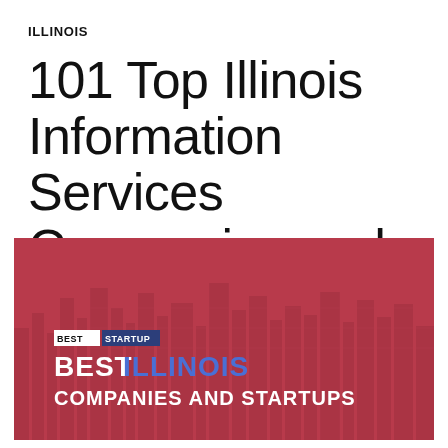ILLINOIS
101 Top Illinois Information Services Companies and Startups of 2021
[Figure (illustration): Red banner image with a faded city skyline background. Contains text: 'BEST STARTUP' badge followed by 'BEST ILLINOIS COMPANIES AND STARTUPS' in large white and blue bold text.]